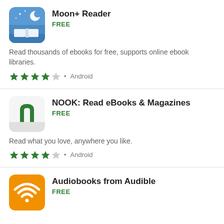Moon+ Reader
FREE
Read thousands of ebooks for free, supports online ebook libraries.
★★★★☆ • Android
NOOK: Read eBooks & Magazines
FREE
Read what you love, anywhere you like.
★★★★☆ • Android
Audiobooks from Audible
FREE